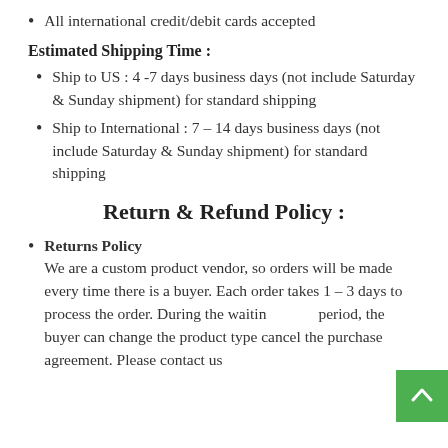All international credit/debit cards accepted
Estimated Shipping Time :
Ship to US : 4 -7 days business days (not include Saturday & Sunday shipment) for standard shipping
Ship to International : 7 – 14 days business days (not include Saturday & Sunday shipment) for standard shipping
Return & Refund Policy :
Returns Policy
We are a custom product vendor, so orders will be made every time there is a buyer. Each order takes 1 – 3 days to process the order. During the waiting period, the buyer can change the product type cancel the purchase agreement. Please contact us